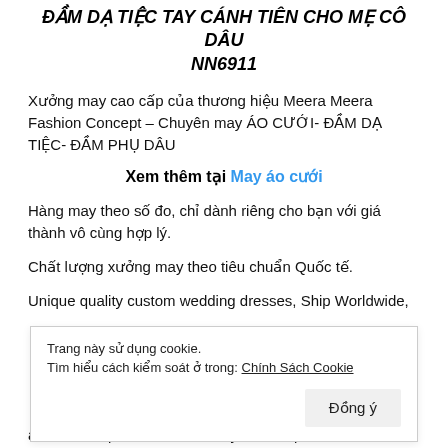ĐẦM DẠ TIỆC TAY CÁNH TIÊN CHO MẸ CÔ DÂU NN6911
Xưởng may cao cấp của thương hiệu Meera Meera Fashion Concept – Chuyên may ÁO CƯỚI- ĐẦM DẠ TIỆC- ĐẦM PHỤ DÂU
Xem thêm tại May áo cưới
Hàng may theo số đo, chỉ dành riêng cho bạn với giá thành vô cùng hợp lý.
Chất lượng xưởng may theo tiêu chuẩn Quốc tế.
Unique quality custom wedding dresses, Ship Worldwide,
Trang này sử dụng cookie.
Tìm hiểu cách kiểm soát ở trong: Chính Sách Cookie
are with sotiphicated and luxury details, please send us a